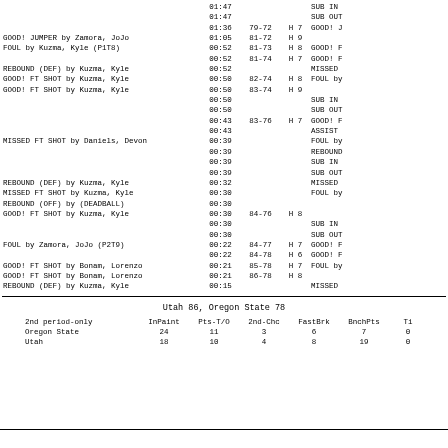| HOME | TIME | SCORE | DIFF | AWAY |
| --- | --- | --- | --- | --- |
|  | 01:47 |  |  | SUB IN |
|  | 01:47 |  |  | SUB OUT |
|  | 01:36 | 79-72 | H 7 | GOOD! ... |
| GOOD! JUMPER by Zamora, JoJo | 01:05 | 81-72 | H 9 |  |
| FOUL by Kuzma, Kyle (P1T8) | 00:52 | 81-73 | H 8 | GOOD! F... |
|  | 00:52 | 81-74 | H 7 | GOOD! F... |
| REBOUND (DEF) by Kuzma, Kyle | 00:52 |  |  | MISSED |
| GOOD! FT SHOT by Kuzma, Kyle | 00:50 | 82-74 | H 8 | FOUL by... |
| GOOD! FT SHOT by Kuzma, Kyle | 00:50 | 83-74 | H 9 |  |
|  | 00:50 |  |  | SUB IN |
|  | 00:50 |  |  | SUB OUT |
|  | 00:43 | 83-76 | H 7 | GOOD! F... |
|  | 00:43 |  |  | ASSIST |
| MISSED FT SHOT by Daniels, Devon | 00:39 |  |  | FOUL by... |
|  | 00:39 |  |  | REBOUND... |
|  | 00:39 |  |  | SUB IN |
|  | 00:39 |  |  | SUB OUT |
| REBOUND (DEF) by Kuzma, Kyle | 00:32 |  |  | MISSED |
| MISSED FT SHOT by Kuzma, Kyle | 00:30 |  |  | FOUL by... |
| REBOUND (OFF) by (DEADBALL) | 00:30 |  |  |  |
| GOOD! FT SHOT by Kuzma, Kyle | 00:30 | 84-76 | H 8 |  |
|  | 00:30 |  |  | SUB IN |
|  | 00:30 |  |  | SUB OUT |
| FOUL by Zamora, JoJo (P2T9) | 00:22 | 84-77 | H 7 | GOOD! F... |
|  | 00:22 | 84-78 | H 6 | GOOD! F... |
| GOOD! FT SHOT by Bonam, Lorenzo | 00:21 | 85-78 | H 7 | FOUL by... |
| GOOD! FT SHOT by Bonam, Lorenzo | 00:21 | 86-78 | H 8 |  |
| REBOUND (DEF) by Kuzma, Kyle | 00:15 |  |  | MISSED |
Utah 86, Oregon State 78
| 2nd period-only | InPaint | Pts-T/O | 2nd-Chc | FastBrk | BnchPts | Ti... |
| --- | --- | --- | --- | --- | --- | --- |
| Oregon State | 24 | 11 | 3 | 6 | 7 | 0 |
| Utah | 18 | 10 | 4 | 8 | 19 | 0 |